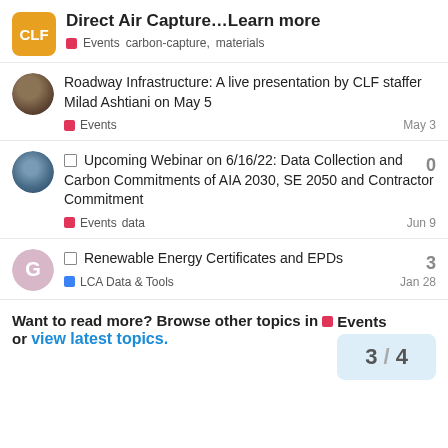Direct Air Capture…Learn more | Events carbon-capture, materials
Roadway Infrastructure: A live presentation by CLF staffer Milad Ashtiani on May 5
Events | May 3
Upcoming Webinar on 6/16/22: Data Collection and Carbon Commitments of AIA 2030, SE 2050 and Contractor Commitment | 0 replies
Events data | Jun 9
Renewable Energy Certificates and EPDs | 3 replies
LCA Data & Tools | Jan 28
Want to read more? Browse other topics in Events or view latest topics. 3 / 4